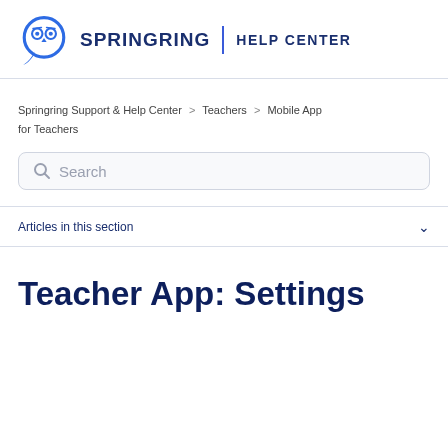[Figure (logo): Springring Help Center logo with owl icon in blue circle and brand name]
Springring Support & Help Center > Teachers > Mobile App for Teachers
[Figure (screenshot): Search box with placeholder text 'Search' and magnifying glass icon]
Articles in this section
Teacher App: Settings